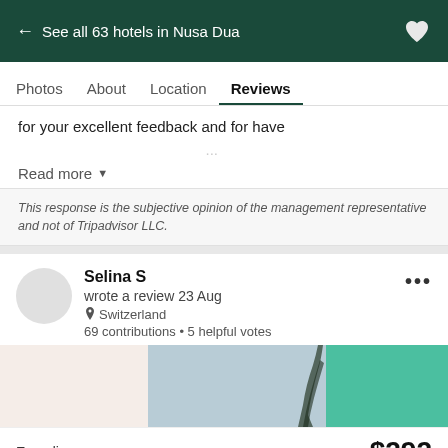← See all 63 hotels in Nusa Dua
Photos  About  Location  Reviews
for your excellent feedback and for have ...
Read more ▼
This response is the subjective opinion of the management representative and not of Tripadvisor LLC.
Selina S
wrote a review 23 Aug
Switzerland
69 contributions • 5 helpful votes
[Figure (photo): Three hotel review photos in a horizontal strip: beige/cream toned room, outdoor scene with palm tree, teal/green background]
Expedia.com  $292
View deal
Special offer